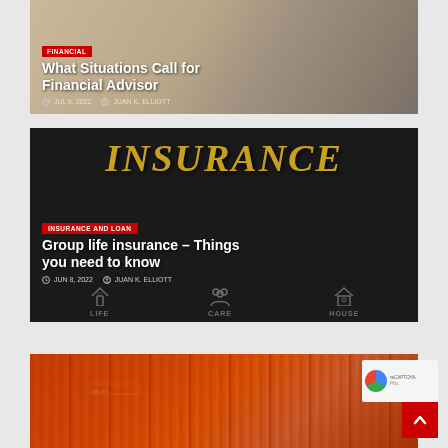[Figure (photo): Article card 1: laptop on desk, financial advisor topic, with red tag and white title text overlay]
What Situations Call for Financial Advisor
JUL 6, 2022  JUAN K. ELLIOTT
[Figure (photo): Article card 2: chalkboard with INSURANCE text in gold letters, chalk icons for life, health, house below, with red INSURANCE AND LOAN tag]
Group life insurance – Things you need to know
JUN 8, 2022  JUAN K. ELLIOTT
[Figure (photo): Article card 3: red shipping containers against dramatic sky background]